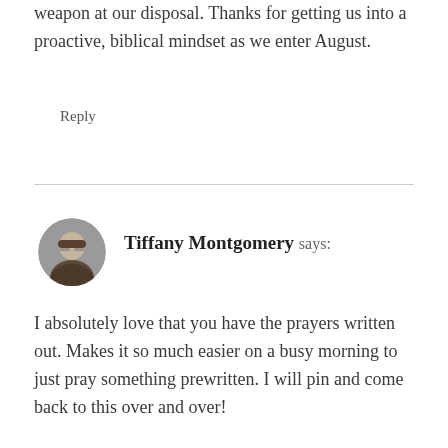weapon at our disposal. Thanks for getting us into a proactive, biblical mindset as we enter August.
Reply
Tiffany Montgomery says:
[Figure (photo): Circular avatar photo of Tiffany Montgomery, a woman with glasses]
I absolutely love that you have the prayers written out. Makes it so much easier on a busy morning to just pray something prewritten. I will pin and come back to this over and over!